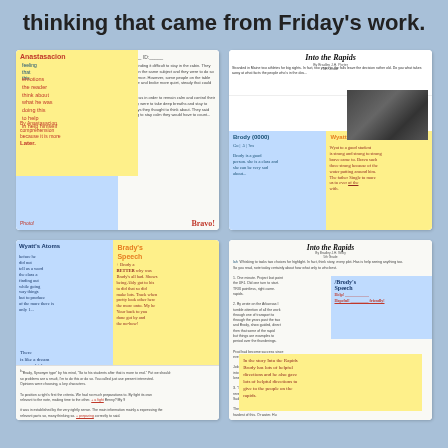thinking that came from Friday's work.
[Figure (photo): Top-left student work sample showing annotated reading passage with yellow sticky note containing red handwritten notes, blue sticky note at bottom, and printed text on right side]
[Figure (photo): Top-right student work sample showing 'Into the Rapids' reading passage with photograph, blue sticky note labeled 'Brody (0000)' with handwriting, and yellow sticky note labeled 'Wyatt's notes' with orange handwriting]
[Figure (photo): Bottom-left student work sample showing blue sticky note labeled 'Wyatt's Atoms' with handwriting, yellow sticky note labeled 'Brady's Speech', and printed text at bottom]
[Figure (photo): Bottom-right student work sample showing 'Into the Rapids' reading passage with blue and yellow sticky notes containing student handwritten responses and annotations]